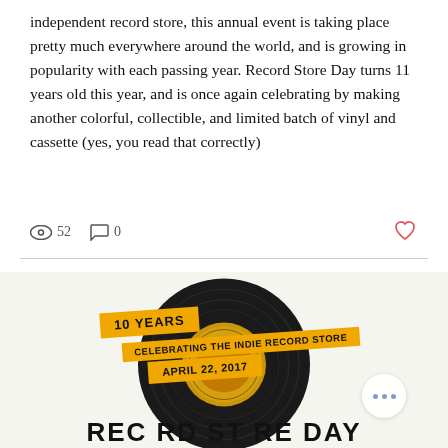independent record store, this annual event is taking place pretty much everywhere around the world, and is growing in popularity with each passing year. Record Store Day turns 11 years old this year, and is once again celebrating by making another colorful, collectible, and limited batch of vinyl and cassette (yes, you read that correctly)
52  0
[Figure (illustration): Record Store Day promotional poster showing a vinyl record with orange diagonal banners reading '10 YEARS', 'CELEBRATING THE INDIE RECORD STORE', and 'APRIL 22, 2017'. Below the record is bold text 'RECORD STORE DAY'. A white circular button with three blue dots appears in the lower right corner.]